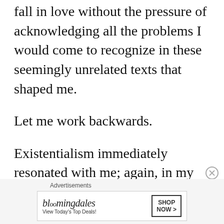fall in love without the pressure of acknowledging all the problems I would come to recognize in these seemingly unrelated texts that shaped me.
Let me work backwards.
Existentialism immediately resonated with me; again, in my ignorance, in my true state of being unlike most humans, I never read existential philosophy as some negative or dark portrayal of the human condition.
[Figure (other): Bloomingdale's advertisement banner with logo, tagline 'View Today's Top Deals!' and 'SHOP NOW >' button. Labeled 'Advertisements' above.]